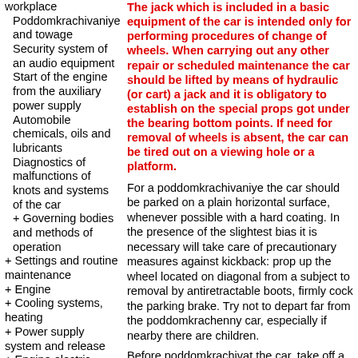workplace
Poddomkrachivaniye and towage
Security system of an audio equipment
Start of the engine from the auxiliary power supply
Automobile chemicals, oils and lubricants
Diagnostics of malfunctions of knots and systems of the car
+ Governing bodies and methods of operation
+ Settings and routine maintenance
+ Engine
+ Cooling systems, heating
+ Power supply system and release
+ Engine electric equipment
+ Engine management
+ Gear shifting box
+ Coupling and power...
The jack which is included in a basic equipment of the car is intended only for performing procedures of change of wheels. When carrying out any other repair or scheduled maintenance the car should be lifted by means of hydraulic (or cart) a jack and it is obligatory to establish on the special props got under the bearing bottom points. If need for removal of wheels is absent, the car can be tired out on a viewing hole or a platform.
For a poddomkrachivaniye the car should be parked on a plain horizontal surface, whenever possible with a hard coating. In the presence of the slightest bias it is necessary will take care of precautionary measures against kickback: prop up the wheel located on diagonal from a subject to removal by antiretractable boots, firmly cock the parking brake. Try not to depart far from the poddomkrachenny car, especially if nearby there are children.
Before poddomkrachivat the car, take off a decorative cap and a balloon key weaken nuts